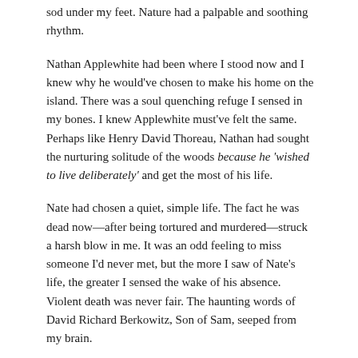sod under my feet. Nature had a palpable and soothing rhythm.
Nathan Applewhite had been where I stood now and I knew why he would've chosen to make his home on the island. There was a soul quenching refuge I sensed in my bones. I knew Applewhite must've felt the same. Perhaps like Henry David Thoreau, Nathan had sought the nurturing solitude of the woods because he 'wished to live deliberately' and get the most of his life.
Nate had chosen a quiet, simple life. The fact he was dead now—after being tortured and murdered—struck a harsh blow in me. It was an odd feeling to miss someone I'd never met, but the more I saw of Nate's life, the greater I sensed the wake of his absence. Violent death was never fair. The haunting words of David Richard Berkowitz, Son of Sam, seeped from my brain.